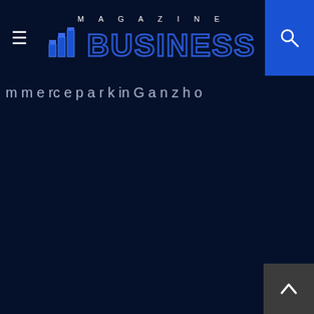MAGAZINE BUSINESS
m e rc e p ar k in G a n z h o